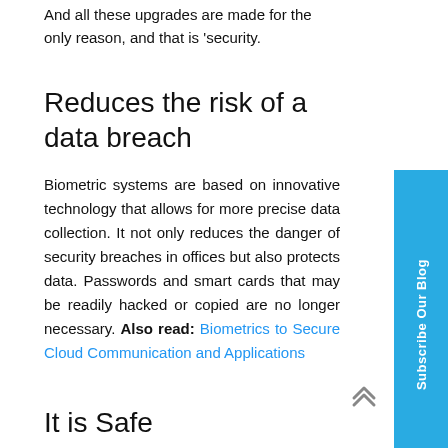And all these upgrades are made for the only reason, and that is 'security.
Reduces the risk of a data breach
Biometric systems are based on innovative technology that allows for more precise data collection. It not only reduces the danger of security breaches in offices but also protects data. Passwords and smart cards that may be readily hacked or copied are no longer necessary. Also read: Biometrics to Secure Cloud Communication and Applications
It is Safe
Fingerprints and facial mapping are biologically